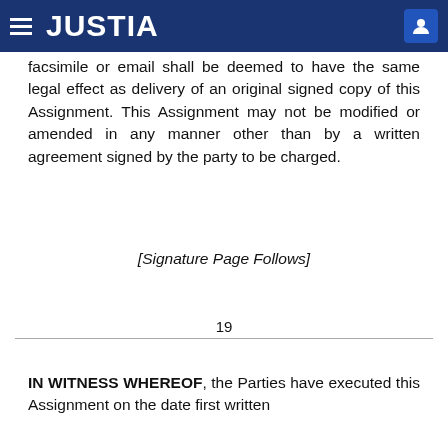JUSTIA
facsimile or email shall be deemed to have the same legal effect as delivery of an original signed copy of this Assignment. This Assignment may not be modified or amended in any manner other than by a written agreement signed by the party to be charged.
[Signature Page Follows]
19
IN WITNESS WHEREOF, the Parties have executed this Assignment on the date first written